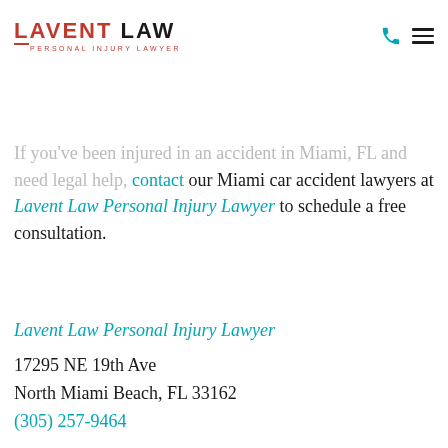Contact Our Car Accident Law Firm in Miami, FL
[Figure (logo): Lavent Law Personal Injury Lawyer logo with red LAVENT LAW text and subtitle PERSONAL INJURY LAWYER]
If you've been injured in an accident in Miami, FL and need legal help, contact our Miami car accident lawyers at Lavent Law Personal Injury Lawyer to schedule a free consultation.
Lavent Law Personal Injury Lawyer
17295 NE 19th Ave
North Miami Beach, FL 33162
(305) 257-9464